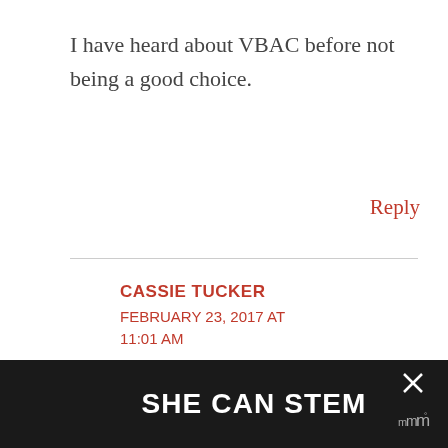I have heard about VBAC before not being a good choice.
Reply
CASSIE TUCKER
FEBRUARY 23, 2017 AT 11:01 AM
My husband was born via C-
[Figure (other): Share button icon (circle with share symbol and plus sign)]
SHE CAN STEM